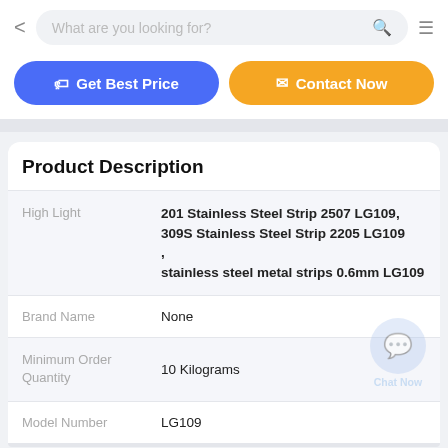< What are you looking for? [search icon] [menu icon]
Get Best Price | Contact Now
Product Description
|  |  |
| --- | --- |
| High Light | 201 Stainless Steel Strip 2507 LG109, 309S Stainless Steel Strip 2205 LG109 , stainless steel metal strips 0.6mm LG109 |
| Brand Name | None |
| Minimum Order Quantity | 10 Kilograms |
| Model Number | LG109 |